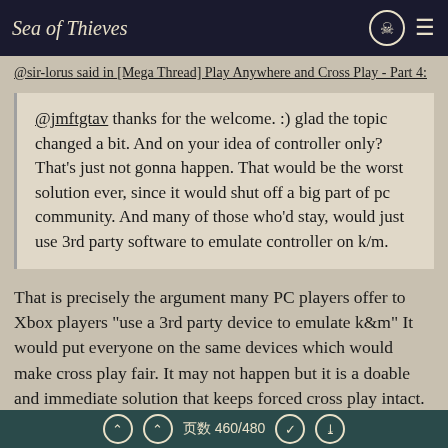Sea of Thieves
@sir-lorus said in [Mega Thread] Play Anywhere and Cross Play - Part 4:
@jmftgtav thanks for the welcome. :) glad the topic changed a bit. And on your idea of controller only? That's just not gonna happen. That would be the worst solution ever, since it would shut off a big part of pc community. And many of those who'd stay, would just use 3rd party software to emulate controller on k/m.
That is precisely the argument many PC players offer to Xbox players "use a 3rd party device to emulate k&m" It would put everyone on the same devices which would make cross play fair. It may not happen but it is a doable and immediate solution that keeps forced cross play intact. Which you repeatedly say you would hate to see made
页数 460/480